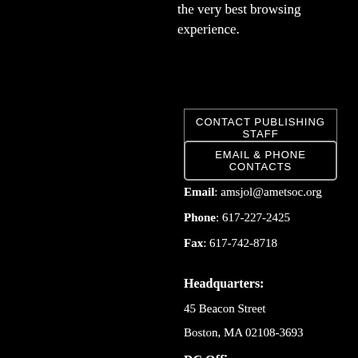the very best browsing experience.
CONTACT PUBLISHING STAFF
EMAIL & PHONE CONTACTS
Email: amsjol@ametsoc.org
Phone: 617-227-2425
Fax: 617-742-8718
Headquarters:
45 Beacon Street
Boston, MA 02108-3693
DC Office:
1200 New York Ave NW
Suite 500